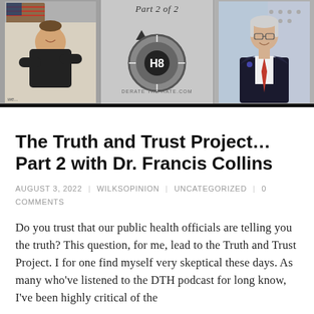[Figure (photo): Banner image for 'Debate the Hate' podcast episode showing Part 2 of 2. Left panel shows a man in black polo shirt with arms crossed, center shows the H8 'Debate the Hate' logo with circular design, and right panel shows an older man in a suit with a red tie, against a flag background.]
The Truth and Trust Project… Part 2 with Dr. Francis Collins
AUGUST 3, 2022 | WILKSOPINION | UNCATEGORIZED | 0 COMMENTS
Do you trust that our public health officials are telling you the truth? This question, for me, lead to the Truth and Trust Project. I for one find myself very skeptical these days. As many who've listened to the DTH podcast for long know, I've been highly critical of the